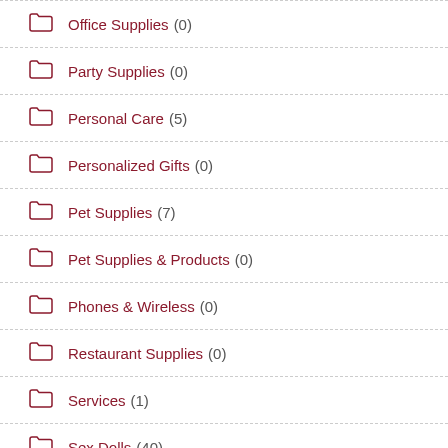Office Supplies (0)
Party Supplies (0)
Personal Care (5)
Personalized Gifts (0)
Pet Supplies (7)
Pet Supplies & Products (0)
Phones & Wireless (0)
Restaurant Supplies (0)
Services (1)
Sex Dolls (40)
Sex Toys (5)